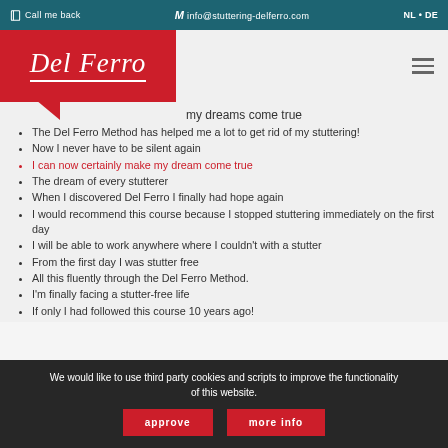Call me back | M info@stuttering-delferro.com | NL • DE
[Figure (logo): Del Ferro script logo on red background with speech bubble tail]
my dreams come true
The Del Ferro Method has helped me a lot to get rid of my stuttering!
Now I never have to be silent again
I can now certainly make my dream come true
The dream of every stutterer
When I discovered Del Ferro I finally had hope again
I would recommend this course because I stopped stuttering immediately on the first day
I will be able to work anywhere where I couldn't with a stutter
From the first day I was stutter free
All this fluently through the Del Ferro Method.
I'm finally facing a stutter-free life
If only I had followed this course 10 years ago!
We would like to use third party cookies and scripts to improve the functionality of this website.